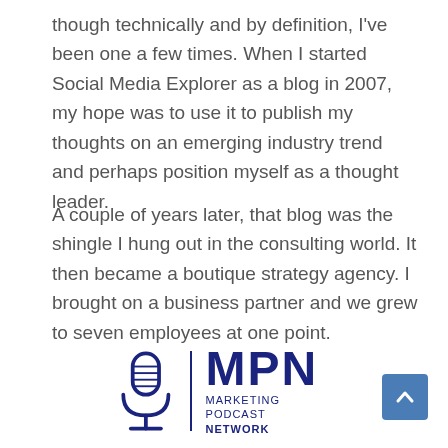though technically and by definition, I've been one a few times. When I started Social Media Explorer as a blog in 2007, my hope was to use it to publish my thoughts on an emerging industry trend and perhaps position myself as a thought leader.
A couple of years later, that blog was the shingle I hung out in the consulting world. It then became a boutique strategy agency. I brought on a business partner and we grew to seven employees at one point.
[Figure (logo): Marketing Podcast Network (MPN) logo with microphone icon on the left, a vertical divider line, and 'MPN' in large bold dark blue text with 'MARKETING PODCAST NETWORK' in smaller text below]